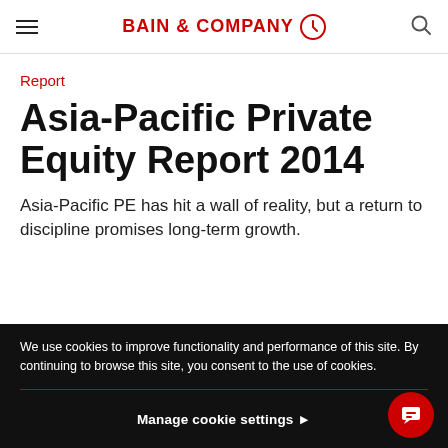BAIN & COMPANY
Report
Asia-Pacific Private Equity Report 2014
Asia-Pacific PE has hit a wall of reality, but a return to discipline promises long-term growth.
We use cookies to improve functionality and performance of this site. By continuing to browse this site, you consent to the use of cookies.
ACCEPT ALL COOKIES
Manage cookie settings ▶